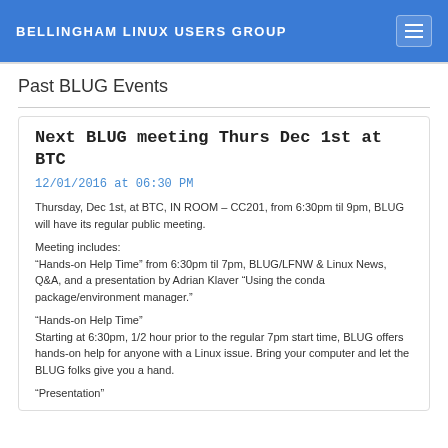BELLINGHAM LINUX USERS GROUP
Past BLUG Events
Next BLUG meeting Thurs Dec 1st at BTC
12/01/2016 at 06:30 PM
Thursday, Dec 1st, at BTC, IN ROOM – CC201, from 6:30pm til 9pm, BLUG will have its regular public meeting.
Meeting includes:
“Hands-on Help Time” from 6:30pm til 7pm, BLUG/LFNW & Linux News, Q&A, and a presentation by Adrian Klaver “Using the conda package/environment manager.”
“Hands-on Help Time”
Starting at 6:30pm, 1/2 hour prior to the regular 7pm start time, BLUG offers hands-on help for anyone with a Linux issue. Bring your computer and let the BLUG folks give you a hand.
“Presentation”